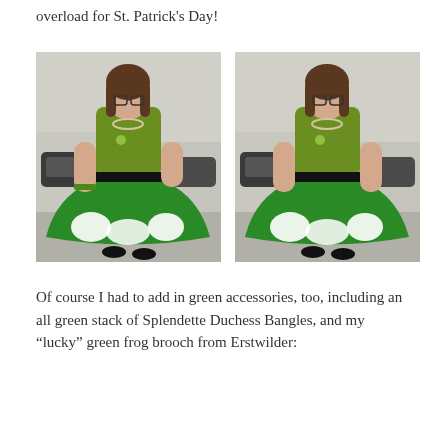overload for St. Patrick's Day!
[Figure (photo): Woman wearing green top and green circle skirt with white cat print, black belt, standing outdoors on pavement — left photo]
[Figure (photo): Same woman wearing green top and green circle skirt with white cat print, black belt, standing outdoors — right photo]
Of course I had to add in green accessories, too, including an all green stack of Splendette Duchess Bangles, and my “lucky” green frog brooch from Erstwilder: